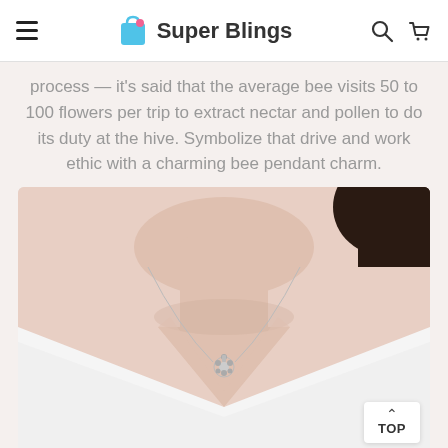Super Blings
process — it's said that the average bee visits 50 to 100 flowers per trip to extract nectar and pollen to do its duty at the hive. Symbolize that drive and work ethic with a charming bee pendant charm.
[Figure (photo): Woman wearing a white V-neck top with a silver bee pendant necklace charm, shown from chin to chest level.]